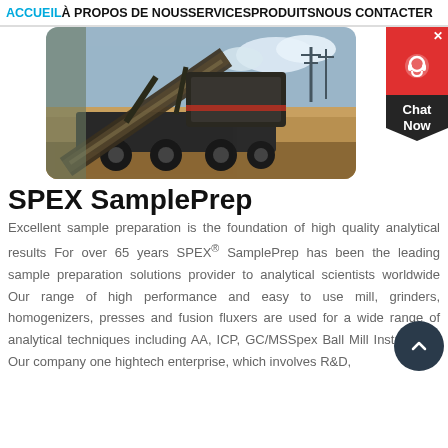ACCUEIL À PROPOS DE NOUS SERVICES PRODUITS NOUS CONTACTER
[Figure (photo): Industrial mining/crushing machine on a truck at a quarry site with blue sky and sandy earthen background]
SPEX SamplePrep
Excellent sample preparation is the foundation of high quality analytical results For over 65 years SPEX® SamplePrep has been the leading sample preparation solutions provider to analytical scientists worldwide Our range of high performance and easy to use mill, grinders, homogenizers, presses and fusion fluxers are used for a wide range of analytical techniques including AA, ICP, GC/MSSpex Ball Mill Instructions Our company one hightech enterprise, which involves R&D,